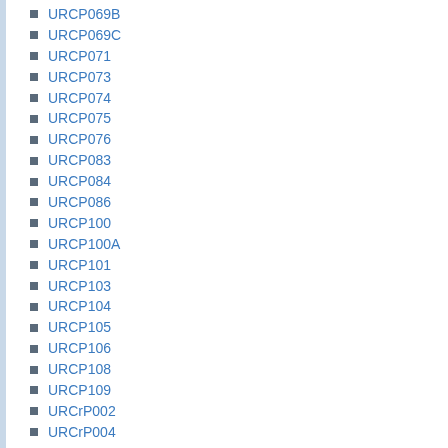URCP069B
URCP069C
URCP071
URCP073
URCP074
URCP075
URCP076
URCP083
URCP084
URCP086
URCP100
URCP100A
URCP101
URCP103
URCP104
URCP105
URCP106
URCP108
URCP109
URCrP002
URCrP004
URCrP004A
URCrP004B
URCrP005
URCrP006
URCrP007
URCrP007A